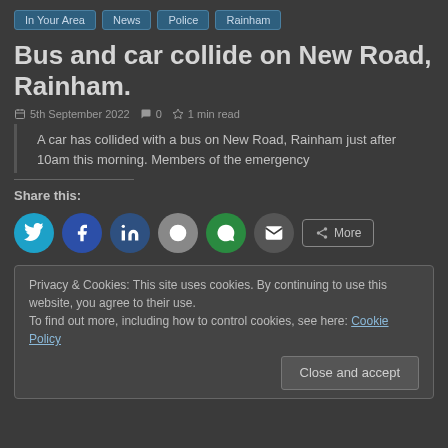In Your Area | News | Police | Rainham
Bus and car collide on New Road, Rainham.
5th September 2022  0  1 min read
A car has collided with a bus on New Road, Rainham just after 10am this morning. Members of the emergency
Share this:
[Figure (infographic): Social share buttons: Twitter, Facebook, LinkedIn, Reddit, WhatsApp, Email, More]
Privacy & Cookies: This site uses cookies. By continuing to use this website, you agree to their use.
To find out more, including how to control cookies, see here: Cookie Policy
Close and accept